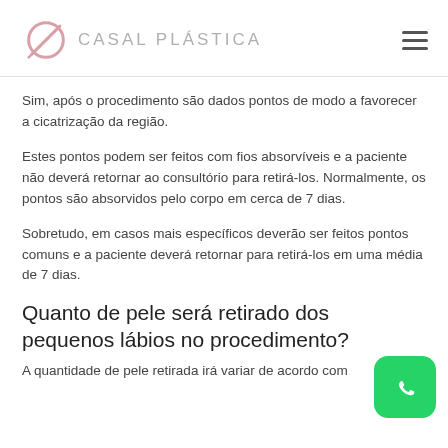CASAL PLASTICA
Sim, após o procedimento são dados pontos de modo a favorecer a cicatrização da região.
Estes pontos podem ser feitos com fios absorvíveis e a paciente não deverá retornar ao consultório para retirá-los. Normalmente, os pontos são absorvidos pelo corpo em cerca de 7 dias.
Sobretudo, em casos mais específicos deverão ser feitos pontos comuns e a paciente deverá retornar para retirá-los em uma média de 7 dias.
Quanto de pele será retirado dos pequenos lábios no procedimento?
A quantidade de pele retirada irá variar de acordo com